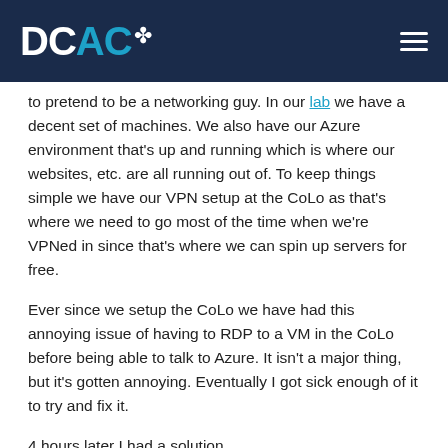DCAC [logo]
to pretend to be a networking guy. In our lab we have a decent set of machines. We also have our Azure environment that’s up and running which is where our websites, etc. are all running out of. To keep things simple we have our VPN setup at the CoLo as that’s where we need to go most of the time when we’re VPNed in since that’s where we can spin up servers for free.
Ever since we setup the CoLo we have had this annoying issue of having to RDP to a VM in the CoLo before being able to talk to Azure. It isn’t a major thing, but it’s gotten annoying. Eventually I got sick enough of it to try and fix it.
4 hours later I had a solution.